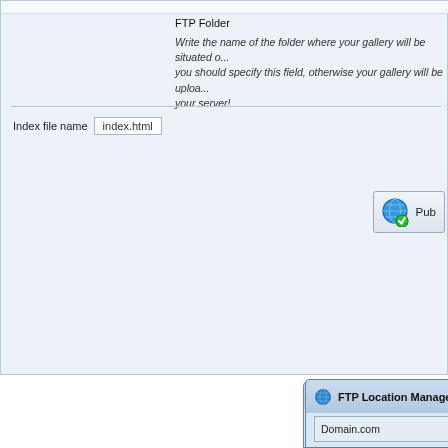[Figure (screenshot): Screenshot of a software UI showing two overlapping windows: (1) A settings panel at the top with 'FTP Folder' label, description text about writing the folder name for gallery upload, an 'Index file name' field with value 'index.html', and a 'Pub...' button with globe icon. (2) An 'FTP Location Manager' dialog at the bottom showing a list with 'Domain.com' entry, FTP location fields (Location name, FTP Server, ftp://, Port=21, Password checkbox, Username, Password with dots), 'New location' and 'Delete' buttons, and a 'Test F...' button.]